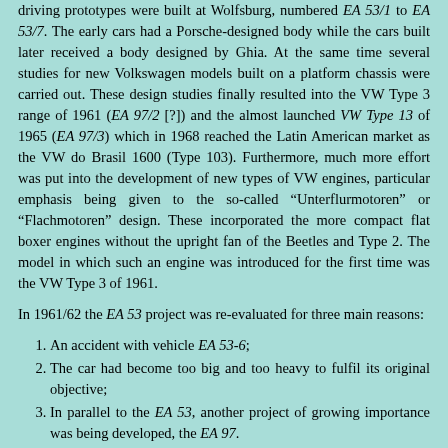driving prototypes were built at Wolfsburg, numbered EA 53/1 to EA 53/7. The early cars had a Porsche-designed body while the cars built later received a body designed by Ghia. At the same time several studies for new Volkswagen models built on a platform chassis were carried out. These design studies finally resulted into the VW Type 3 range of 1961 (EA 97/2 [?]) and the almost launched VW Type 13 of 1965 (EA 97/3) which in 1968 reached the Latin American market as the VW do Brasil 1600 (Type 103). Furthermore, much more effort was put into the development of new types of VW engines, particular emphasis being given to the so-called "Unterflurmotoren" or "Flachmotoren" design. These incorporated the more compact flat boxer engines without the upright fan of the Beetles and Type 2. The model in which such an engine was introduced for the first time was the VW Type 3 of 1961.
In 1961/62 the EA 53 project was re-evaluated for three main reasons:
An accident with vehicle EA 53-6;
The car had become too big and too heavy to fulfil its original objective;
In parallel to the EA 53, another project of growing importance was being developed, the EA 97.
It was decided to stop the EA 53 project and to continue with a new one, but drawing on the results of the EA 53. This plan was given the development code number EA 142. In October 1962 the project was defined as "a possible successor to the (still new) VW Type 3". The first EA 142 prototypes were equipped with the same angular-styled monocoque Ghia bodies as the last EA 53 cars. At the same time, however, they received the new double-jointed rear axles.
Then the Italian design studio of Pinifarina became involved in the EA 142